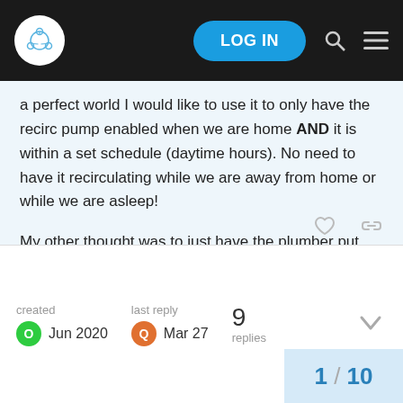LOG IN
a perfect world I would like to use it to only have the recirc pump enabled when we are home AND it is within a set schedule (daytime hours). No need to have it recirculating while we are away from home or while we are asleep!
My other thought was to just have the plumber put the external recirculation pump on its own outlet that I can control with a SmartThings switch so I can have the combination of being home and within a certain time window energize the pump (the pump would be hardwired to a temp sensor so it only runs when the water temp in the line has fallen too low).
created Jun 2020  last reply Mar 27  9 replies  1 / 10